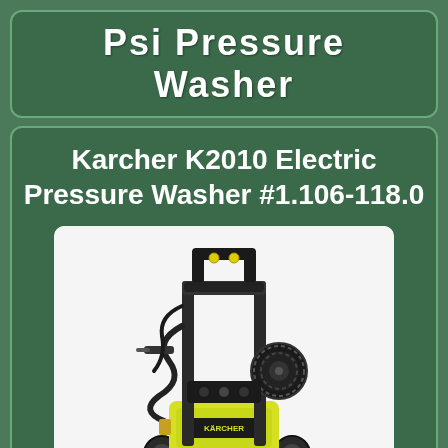Psi Pressure Washer
Karcher K2010 Electric Pressure Washer #1.106-118.0
[Figure (photo): Karcher K2010 Electric Pressure Washer on a wheeled frame with yellow lower body, black frame, handle, and hose reel, shown on white background]